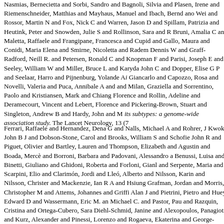Nasmias, Bernecietta and Sorbi, Sandro and Bagnoli, Silvia and Plasen, Irene and Riemenschneider, Matthias and Mayhaus, Manuel and Ibach, Bernd and Wei and Rossor, Martin N and Fox, Nick C and Warren, Jason D and Spillam, Patrizia and Heutink, Peter and Snowden, Julie S and Rollinson, Sara and R Bruni, Amalia C and Maletta, Raffaele and Frangipane, Francesca and Cupid and Gallo, Maura and Conidi, Maria Elena and Smirne, Nicoletta and Radem Dennis W and Graff-Radford, Neill R. and Petersen, Ronald C and Knopman F and Parisi, Joseph E and Seeley, William W and Miller, Bruce L and Karyda John C and Dopper, Elise G P and Seelaar, Harro and Pijnenburg, Yolande A Giancarlo and Capozzo, Rosa and Novelli, Valeria and Puca, Annibale A and and Milan, Graziella and Sorrentino, Paolo and Kristiansen, Mark and Chiang Florence and Rollin, Adeline and Deramecourt, Vincent and Lebert, Florence and Pickering-Brown, Stuart and Singleton, Andrew B and Hardy, John and M its subtypes: a genome-wide association study. The Lancet Neurology, 13 (7
Ferrari, Raffaele and Hernandez, Dena G and Nalls, Michael A and Rohrer, J Kwok, John B J and Dobson-Stone, Carol and Brooks, William S and Schofie John R and Piguet, Olivier and Bartley, Lauren and Thompson, Elizabeth and Agustin and Boada, Mercè and Borroni, Barbara and Padovani, Alessandro a Benussi, Luisa and Binetti, Giuliano and Ghidoni, Roberta and Forloni, Gianl and Serpente, Maria and Scarpini, Elio and Clarimón, Jordi and Lleó, Alberto and Nilsson, Karin and Nilsson, Christer and Mackenzie, Ian R A and Hsiung Grafman, Jordan and Morris, Christopher M and Attems, Johannes and Griffi Alan J and Pietrini, Pietro and Huey, Edward D and Wassermann, Eric M. an Michael C. and Pastor, Pau and Razquin, Cristina and Ortega-Cubero, Sara Diehl-Schmid, Janine and Alexopoulos, Panagiotis and Kurz, Alexander and Pinessi, Lorenzo and Rogaeva, Ekaterina and George-Hyslop, Peter St and Giaccone, Giorgio and Rowe, James B and Schlachetzki, Johannes C M and Simon and Danek, Adrian and Deerlin, Vivianna M Van and Grossman, Murra Julie and Deschamps, William and Langenhove, Tim Van and Cruts, Marc an Stefano E and Ber, Isabelle Le and Hannequin, Didier and Golfier, Veronique